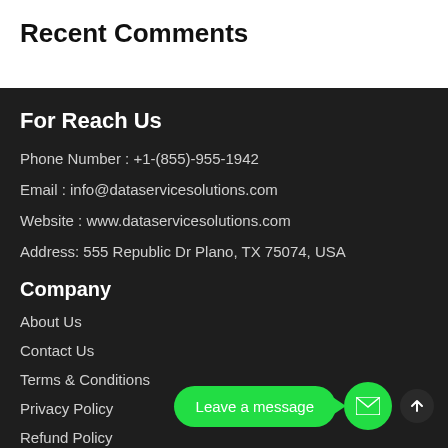Recent Comments
For Reach Us
Phone Number : +1-(855)-955-1942
Email : info@dataservicesolutions.com
Website : www.dataservicesolutions.com
Address: 555 Republic Dr Plano, TX 75074, USA
Company
About Us
Contact Us
Terms & Conditions
Privacy Policy
Refund Policy
[Figure (other): Green chat widget with 'Leave a message' button, mail icon circle, and scroll-to-top arrow]